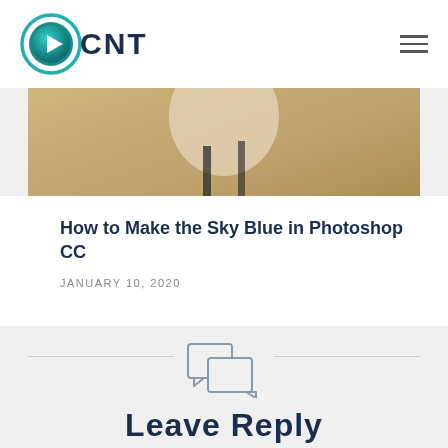OCNT
[Figure (photo): Cropped photo showing a person with blonde hair and a black strap, in a warm outdoor setting]
How to Make the Sky Blue in Photoshop CC
JANUARY 10, 2020
[Figure (illustration): Two overlapping speech bubble / comment icons in outline style]
Leave Reply